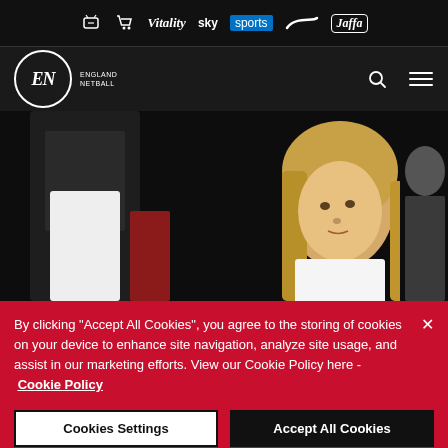Sponsor bar: ticket icon, cart icon, Vitality, sky sports, Nike swoosh, Jaffa
[Figure (logo): England Netball navigation bar with logo, search icon, and hamburger menu]
[Figure (photo): Photo of a blonde woman in white top at a netball event, dark background]
By clicking "Accept All Cookies", you agree to the storing of cookies on your device to enhance site navigation, analyze site usage, and assist in our marketing efforts. View our Cookie Policy here - Cookie Policy
Cookies Settings
Accept All Cookies